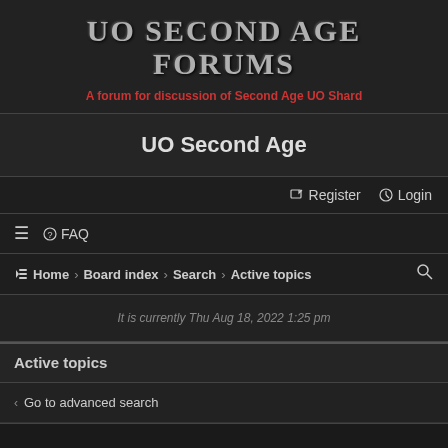UO Second Age Forums
A forum for discussion of Second Age UO Shard
UO Second Age
Register  Login
≡  FAQ
Home › Board index › Search › Active topics
It is currently Thu Aug 18, 2022 1:25 pm
Active topics
Go to advanced search